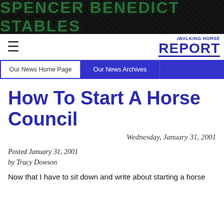[Figure (logo): Spencer Benedict Stables banner with dark green metallic text on black/dark background with diagonal texture pattern]
THE WALKING HORSE REPORT
Our News Home Page | Our News Archives
How To Start A Horse Council
Wednesday, January 31, 2001
Posted January 31, 2001
by Tracy Dowson
Now that I have to sit down and write about starting a horse